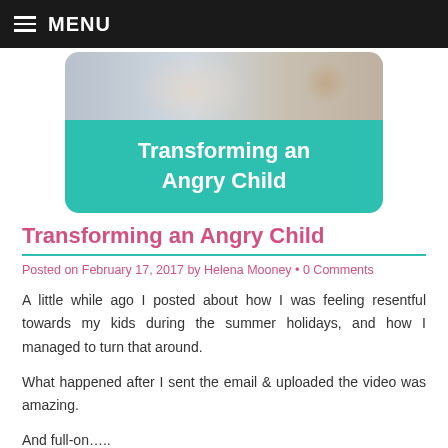MENU
[Figure (photo): Hero image with a teal rounded card showing a photo of a child at top and bold white text 'Transforming an Angry Child' on teal background below]
Transforming an Angry Child
Posted on February 17, 2017 by Helena Mooney • 0 Comments
A little while ago I posted about how I was feeling resentful towards my kids during the summer holidays, and how I managed to turn that around.
What happened after I sent the email & uploaded the video was amazing.
And full-on…..